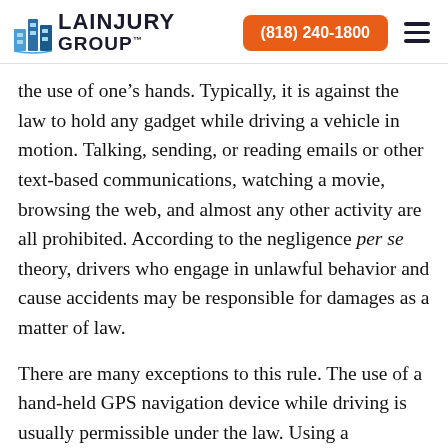LA INJURY GROUP | (818) 240-1800
the use of one's hands. Typically, it is against the law to hold any gadget while driving a vehicle in motion. Talking, sending, or reading emails or other text-based communications, watching a movie, browsing the web, and almost any other activity are all prohibited. According to the negligence per se theory, drivers who engage in unlawful behavior and cause accidents may be responsible for damages as a matter of law.
There are many exceptions to this rule. The use of a hand-held GPS navigation device while driving is usually permissible under the law. Using a hands-free device while driving is also generally considered